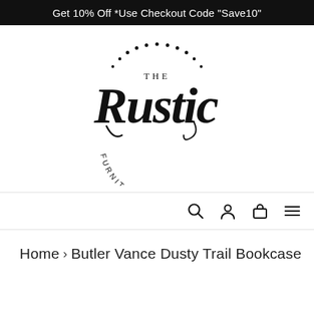Get 10% Off *Use Checkout Code "Save10"
[Figure (logo): The Rustic Furniture Store logo — decorative script text 'The Rustic' with 'FURNITURE STORE' in spaced capitals around the bottom, surrounded by a dotted arc at the top]
Navigation icons: search, account, cart, menu
Home › Butler Vance Dusty Trail Bookcase